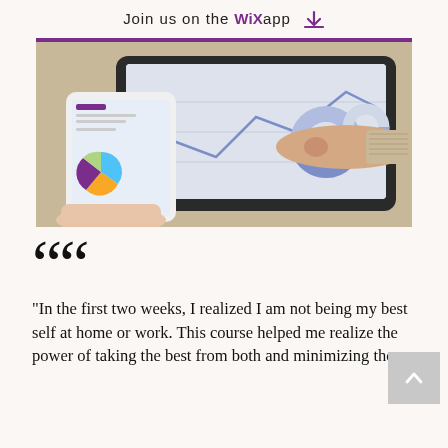Join us on the WiX app ↓
[Figure (photo): Photo of a person holding a smartphone showing analytics charts and graphs, with another hand pointing at a tablet screen displaying similar data visualizations on a wooden desk.]
“In the first two weeks, I realized I am not being my best self at home or work. This course helped me realize the power of taking the best from both and minimizing the